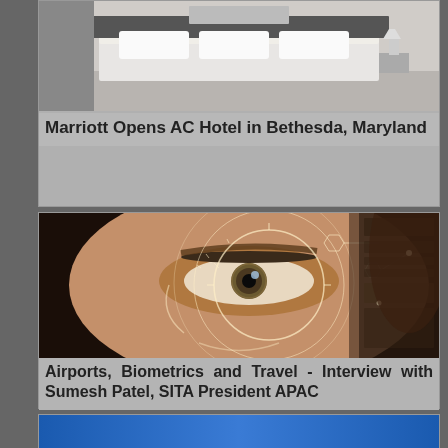[Figure (photo): Photo of a hotel room interior (AC Hotel by Marriott, Bethesda Maryland) - top portion of card, showing modern minimalist room]
Marriott Opens AC Hotel in Bethesda, Maryland
[Figure (photo): Close-up photo of a woman's eye with futuristic biometric scanning overlay circles and interface elements, used to illustrate airports biometrics and travel article]
Airports, Biometrics and Travel - Interview with Sumesh Patel, SITA President APAC
[Figure (photo): Blue image partially visible at bottom of page - third article card]